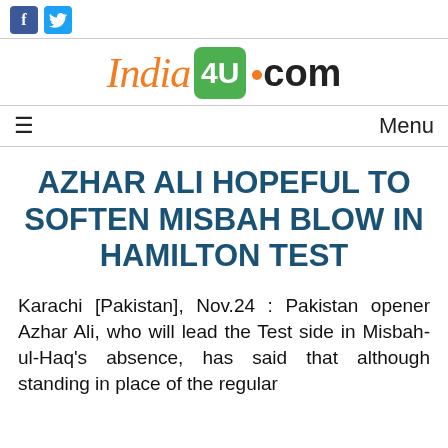[Figure (logo): India4U.com website logo with social media icons (Facebook and Twitter). The logo shows 'India' in orange italic, '4U' in white on green box, dot in orange, '.com' in black bold.]
≡   Menu
AZHAR ALI HOPEFUL TO SOFTEN MISBAH BLOW IN HAMILTON TEST
Karachi [Pakistan], Nov.24 : Pakistan opener Azhar Ali, who will lead the Test side in Misbah-ul-Haq's absence, has said that although standing in place of the regular